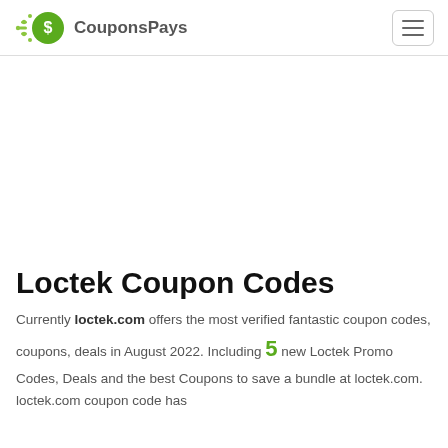CouponsPays
[Figure (other): Advertisement / empty white space area]
Loctek Coupon Codes
Currently loctek.com offers the most verified fantastic coupon codes, coupons, deals in August 2022. Including 5 new Loctek Promo Codes, Deals and the best Coupons to save a bundle at loctek.com. loctek.com coupon code has